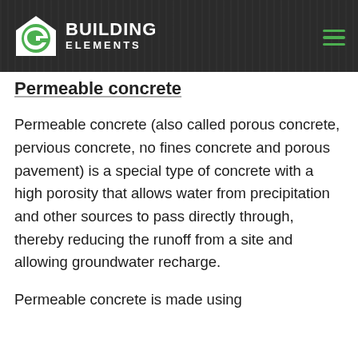BUILDING ELEMENTS
Permeable concrete
Permeable concrete (also called porous concrete, pervious concrete, no fines concrete and porous pavement) is a special type of concrete with a high porosity that allows water from precipitation and other sources to pass directly through, thereby reducing the runoff from a site and allowing groundwater recharge.
Permeable concrete is made using